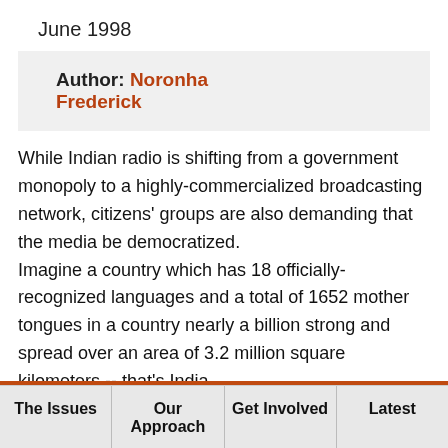June 1998
Author: Noronha Frederick
While Indian radio is shifting from a government monopoly to a highly-commercialized broadcasting network, citizens' groups are also demanding that the media be democratized.
Imagine a country which has 18 officially-recognized languages and a total of 1652 mother tongues in a country nearly a billion strong and spread over an area of 3.2 million square kilometers -- that's India.

Given its diversity and expanse, one could well
The Issues | Our Approach | Get Involved | Latest